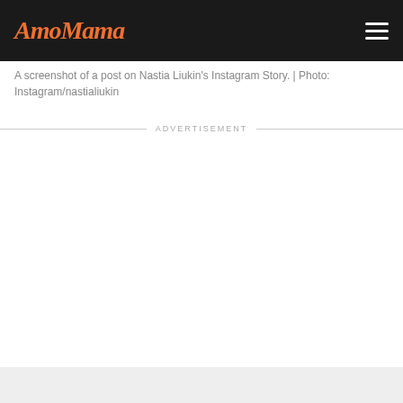AmoMama
A screenshot of a post on Nastia Liukin’s Instagram Story. | Photo: Instagram/nastialiukin
ADVERTISEMENT